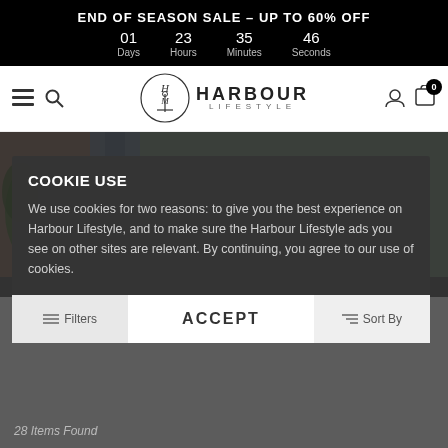END OF SEASON SALE – UP TO 60% OFF
01 Days  23 Hours  35 Minutes  46 Seconds
[Figure (logo): Harbour Lifestyle logo with anchor emblem in circular design]
[Figure (photo): Outdoor garden furniture sofa with cushions against brick wall backdrop]
COOKIE USE
We use cookies for two reasons: to give you the best experience on Harbour Lifestyle, and to make sure the Harbour Lifestyle ads you see on other sites are relevant. By continuing, you agree to our use of cookies.
ACCEPT
28 Items Found